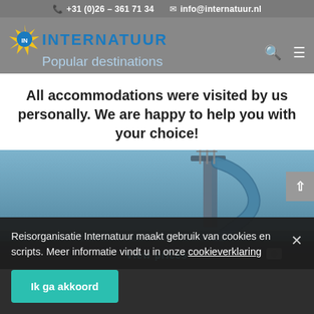+31 (0)26 – 361 71 34   info@internatuur.nl
[Figure (logo): Internatuur travel agency logo with sun icon and blue text, with 'Popular destinations' subtitle]
All accommodations were visited by us personally. We are happy to help you with your choice!
[Figure (photo): Photo of a waterslide at an outdoor water park against a blue sky, with a 'View prices' bar overlay at the bottom]
Reisorganisatie Internatuur maakt gebruik van cookies en scripts. Meer informatie vindt u in onze cookieverklaring
Ik ga akkoord